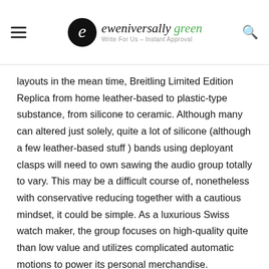eweniversally green — Write For Us – Instant Approval
layouts in the mean time, Breitling Limited Edition Replica from home leather-based to plastic-type substance, from silicone to ceramic. Although many can altered just solely, quite a lot of silicone (although a few leather-based stuff ) bands using deployant clasps will need to own sawing the audio group totally to vary. This may be a difficult course of, nonetheless with conservative reducing together with a cautious mindset, it could be simple. As a luxurious Swiss watch maker, the group focuses on high-quality quite than low value and utilizes complicated automatic motions to power its personal merchandise.
North Attleboro – Mount Hope Cemetery – May 2008 Replace – The Statue of Jesus to even exist is questionable. – At Mount Hope Cemetery in North Attleboro, there exists a haunted s of Jesus that supposedly, should you stare at from afar, it to carry out humorous dance moves! The statue is simple to fi